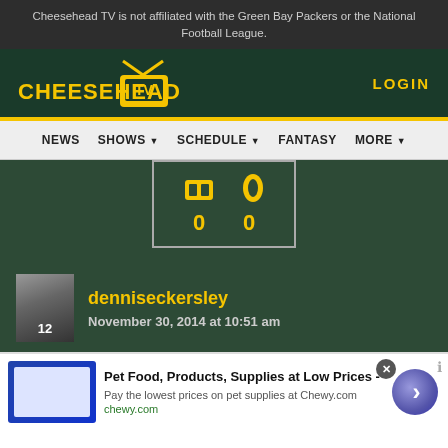Cheesehead TV is not affiliated with the Green Bay Packers or the National Football League.
CHEESEHEAD TV | LOGIN
NEWS  SHOWS  SCHEDULE  FANTASY  MORE
[Figure (screenshot): Scoreboard widget showing two team icons with score 0 vs 0 in yellow on dark green background]
denniseckersley
November 30, 2014 at 10:51 am
[Figure (infographic): Advertisement banner for Chewy.com: Pet Food, Products, Supplies at Low Prices - Pay the lowest prices on pet supplies at Chewy.com]